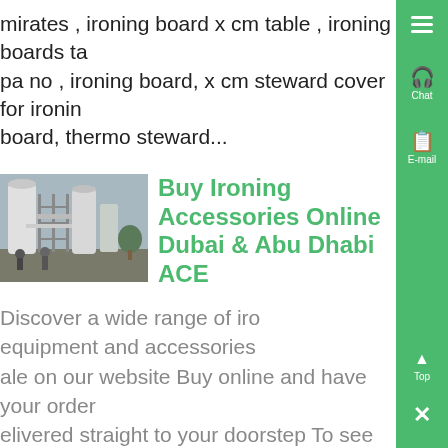mirates , ironing board x cm table , ironing boards ta pa no , ironing board, x cm steward cover for ironing board, thermo steward...
[Figure (photo): Industrial or warehouse facility with large white cylindrical structures, scaffolding, and workers visible in foreground.]
Buy Ironing Accessories Online Dubai & Abu Dhabi ACE
Discover a wide range of ironing equipment and accessories for sale on our website Buy online and have your order delivered straight to your doorstep To see the collection first-hand, visit our branches in Dubai, Abu Dhabi and n...